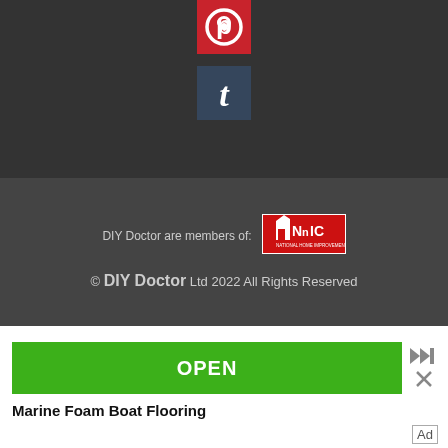[Figure (logo): Pinterest logo icon - red square with white P symbol]
[Figure (logo): Tumblr logo icon - steel blue square with white t symbol]
DIY Doctor are members of:
[Figure (logo): NHIC - National Home Improvement Council logo]
© DIY Doctor Ltd 2022 All Rights Reserved
[Figure (screenshot): Advertisement with green OPEN button]
Marine Foam Boat Flooring
Ad